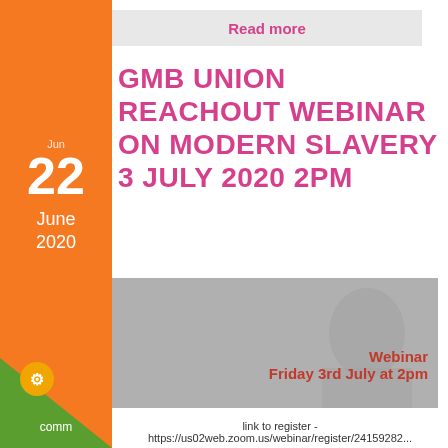Read more
GMB UNION REACHOUT WEBINAR ON MODERN SLAVERY 3 JULY 2020 2PM
22
June
2020
[Figure (screenshot): Cookie Control popup overlay on a webpage showing a webinar image. The image shows a webinar graphic with text 'Webinar Friday 3rd July at 2pm'. The Cookie Control popup says: 'This website uses cookies to store information on your computer. Using this website means you consent to cookies.' with a read more link and About this tool link.]
link to register - https://us02web.zoom.us/webinar/register/24159282...